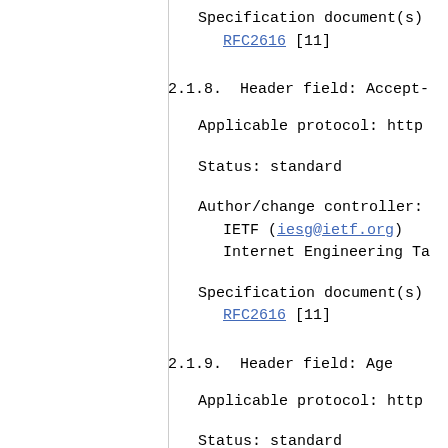Specification document(s): RFC2616 [11]
2.1.8.  Header field: Accept-
Applicable protocol: http
Status: standard
Author/change controller: IETF (iesg@ietf.org) Internet Engineering Ta
Specification document(s): RFC2616 [11]
2.1.9.  Header field: Age
Applicable protocol: http
Status: standard